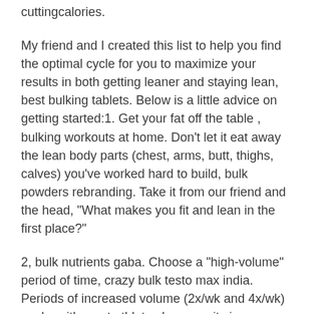cuttingcalories.
My friend and I created this list to help you find the optimal cycle for you to maximize your results in both getting leaner and staying lean, best bulking tablets. Below is a little advice on getting started:1. Get your fat off the table , bulking workouts at home. Don't let it eat away the lean body parts (chest, arms, butt, thighs, calves) you've worked hard to build, bulk powders rebranding. Take it from our friend and the head, "What makes you fit and lean in the first place?"
2, bulk nutrients gaba. Choose a "high-volume" period of time, crazy bulk testo max india. Periods of increased volume (2x/wk and 4x/wk) works with most athletes because its is an adaptation to get the blood flowing and increase blood flow to cells. So, increase your volume more often, creatine